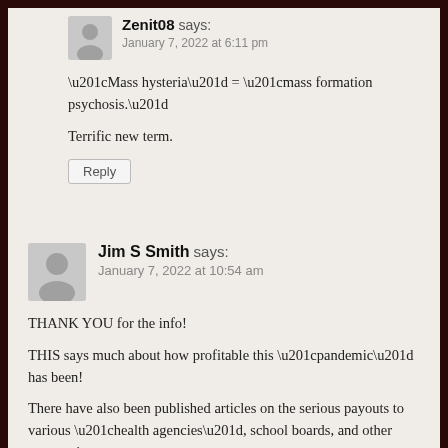Zenit08 says:
January 7, 2022 at 6:11 pm

“Mass hysteria” = “mass formation psychosis.”

Terrific new term.
Jim S Smith says:
January 7, 2022 at 10:54 am

THANK YOU for the info!

THIS says much about how profitable this “pandemic” has been!

There have also been published articles on the serious payouts to various “health agencies”, school boards, and other corporations...